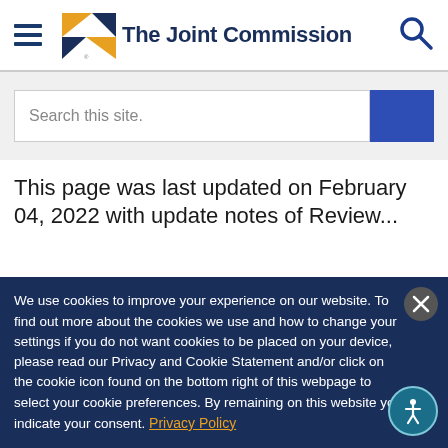The Joint Commission
Search this site.
This page was last updated on February 04, 2022 with update notes of Review...
We use cookies to improve your experience on our website. To find out more about the cookies we use and how to change your settings if you do not want cookies to be placed on your device, please read our Privacy and Cookie Statement and/or click on the cookie icon found on the bottom right of this webpage to select your cookie preferences. By remaining on this website you indicate your consent. Privacy Policy